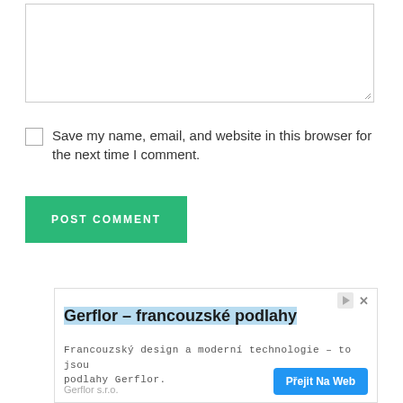[Figure (screenshot): Textarea input box with resize handle at bottom right]
Save my name, email, and website in this browser for the next time I comment.
POST COMMENT
[Figure (screenshot): Advertisement banner for Gerflor - francouzské podlahy. Contains ad title with blue highlight, body text in courier: Francouzský design a moderní technologie - to jsou podlahy Gerflor., footer: Gerflor s.r.o., and a blue CTA button: Přejit Na Web. Ad icons (play triangle and X) in top right.]